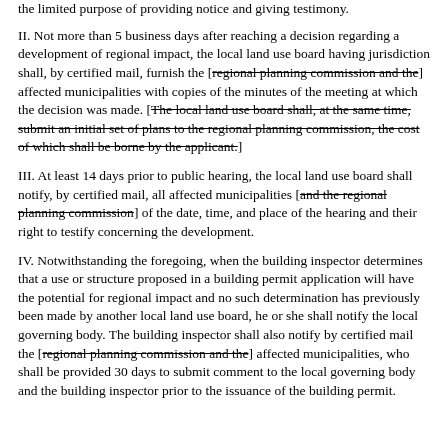the limited purpose of providing notice and giving testimony.
II. Not more than 5 business days after reaching a decision regarding a development of regional impact, the local land use board having jurisdiction shall, by certified mail, furnish the [regional planning commission and the] affected municipalities with copies of the minutes of the meeting at which the decision was made. [The local land use board shall, at the same time, submit an initial set of plans to the regional planning commission, the cost of which shall be borne by the applicant.]
III. At least 14 days prior to public hearing, the local land use board shall notify, by certified mail, all affected municipalities [and the regional planning commission] of the date, time, and place of the hearing and their right to testify concerning the development.
IV. Notwithstanding the foregoing, when the building inspector determines that a use or structure proposed in a building permit application will have the potential for regional impact and no such determination has previously been made by another local land use board, he or she shall notify the local governing body. The building inspector shall also notify by certified mail the [regional planning commission and the] affected municipalities, who shall be provided 30 days to submit comment to the local governing body and the building inspector prior to the issuance of the building permit.